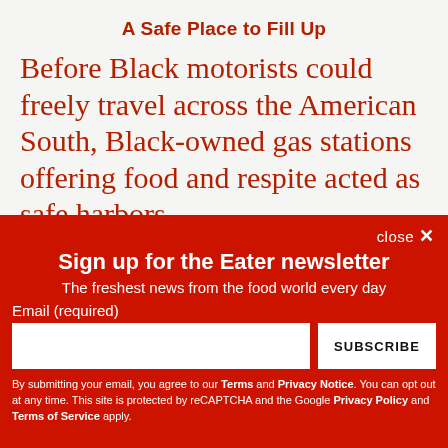A Safe Place to Fill Up
Before Black motorists could freely travel across the American South, Black-owned gas stations offering food and respite acted as safe harbors.
close ×
Sign up for the Eater newsletter
The freshest news from the food world every day
Email (required)
SUBSCRIBE
By submitting your email, you agree to our Terms and Privacy Notice. You can opt out at any time. This site is protected by reCAPTCHA and the Google Privacy Policy and Terms of Service apply.